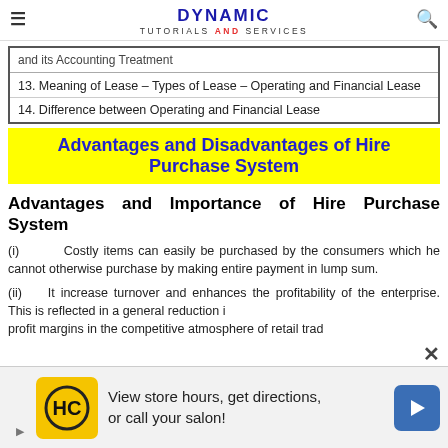DYNAMIC TUTORIALS AND SERVICES
| and its Accounting Treatment |
| 13. Meaning of Lease – Types of Lease – Operating and Financial Lease |
| 14. Difference between Operating and Financial Lease |
Advantages and Disadvantages of Hire Purchase System
Advantages and Importance of Hire Purchase System
(i)    Costly items can easily be purchased by the consumers which he cannot otherwise purchase by making entire payment in lump sum.
(ii)   It increase turnover and enhances the profitability of the enterprise. This is reflected in a general reduction in profit margins in the competitive atmosphere of retail trad…